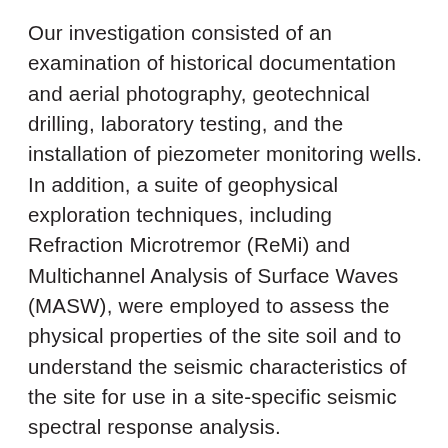Our investigation consisted of an examination of historical documentation and aerial photography, geotechnical drilling, laboratory testing, and the installation of piezometer monitoring wells. In addition, a suite of geophysical exploration techniques, including Refraction Microtremor (ReMi) and Multichannel Analysis of Surface Waves (MASW), were employed to assess the physical properties of the site soil and to understand the seismic characteristics of the site for use in a site-specific seismic spectral response analysis.